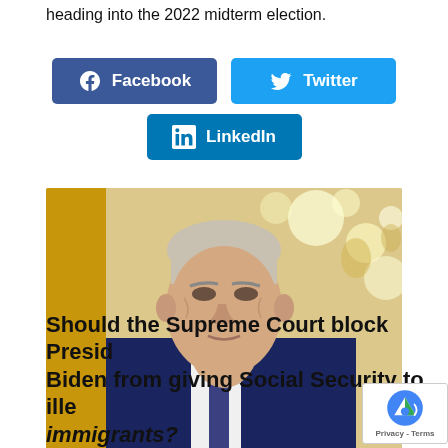heading into the 2022 midterm election.
[Figure (infographic): Social media share buttons: Facebook (dark blue), Twitter (light blue), LinkedIn (teal blue)]
[Figure (photo): Photo of President Biden in a dark suit with tie, facing slightly left, in a formal room with warm golden lighting and bokeh lights in background]
Should the Supreme Court block President Biden from giving Social Security to illegal immigrants?